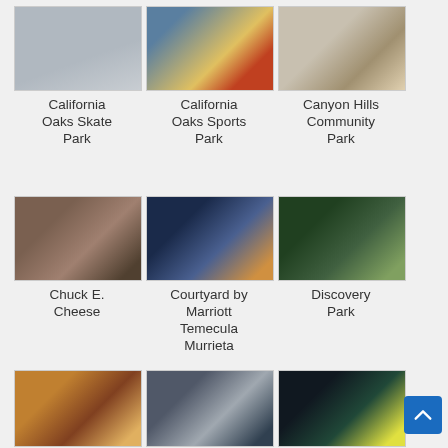[Figure (photo): California Oaks Skate Park photo]
California Oaks Skate Park
[Figure (photo): California Oaks Sports Park photo]
California Oaks Sports Park
[Figure (photo): Canyon Hills Community Park photo]
Canyon Hills Community Park
[Figure (photo): Chuck E. Cheese photo]
Chuck E. Cheese
[Figure (photo): Courtyard by Marriott Temecula Murrieta photo]
Courtyard by Marriott Temecula Murrieta
[Figure (photo): Discovery Park photo]
Discovery Park
[Figure (photo): Epic Ballertainment photo]
Epic Ballertainment
[Figure (photo): Freedom in Motion photo]
Freedom in Motion
[Figure (photo): Get Air Trampoline photo]
Get Air Trampoline